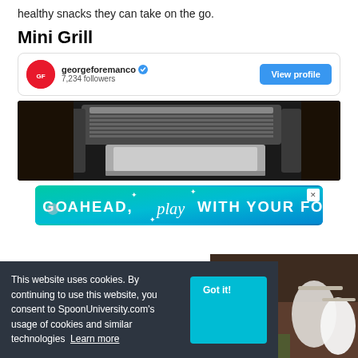healthy snacks they can take on the go.
Mini Grill
[Figure (screenshot): Social media profile card for georgeforemanco with verified badge, 7,234 followers, and a View profile button, followed by a photo of a mini grill appliance]
[Figure (infographic): Advertisement banner with gradient background reading GO AHEAD, play WITH YOUR FOOD with sparkle decorations and a close button]
This website uses cookies. By continuing to use this website, you consent to SpoonUniversity.com's usage of cookies and similar technologies Learn more
[Figure (photo): Partial photo of food items and mason jars on a wooden surface]